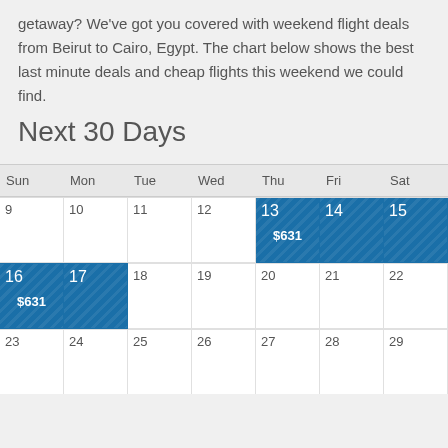getaway? We've got you covered with weekend flight deals from Beirut to Cairo, Egypt. The chart below shows the best last minute deals and cheap flights this weekend we could find.
Next 30 Days
| Sun | Mon | Tue | Wed | Thu | Fri | Sat |
| --- | --- | --- | --- | --- | --- | --- |
| 9 | 10 | 11 | 12 | 13 $631 | 14 $631 | 15 $631 |
| 16 $631 | 17 $631 | 18 | 19 | 20 | 21 | 22 |
| 23 | 24 | 25 | 26 | 27 | 28 | 29 |